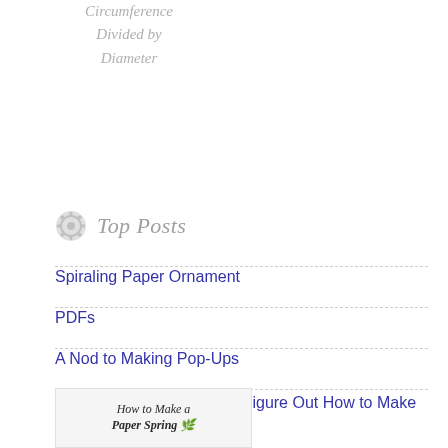Circumference Divided by Diameter
Top Posts
Spiraling Paper Ornament
PDFs
A Nod to Making Pop-Ups
Four Books Students Can Figure Out How to Make on Their Own
A Spiraling Book
[Figure (photo): Book cover image of 'Paper Spring' book]